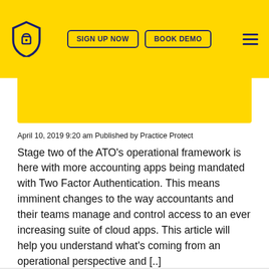[Figure (logo): Practice Protect shield logo in dark navy blue with a padlock icon, on yellow background, with SIGN UP NOW and BOOK DEMO buttons and hamburger menu]
April 10, 2019 9:20 am Published by Practice Protect
Stage two of the ATO's operational framework is here with more accounting apps being mandated with Two Factor Authentication. This means imminent changes to the way accountants and their teams manage and control access to an ever increasing suite of cloud apps. This article will help you understand what's coming from an operational perspective and [..]
READ MORE